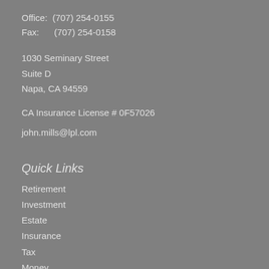Office:  (707) 254-0155
Fax:      (707) 254-0158
1030 Seminary Street
Suite D
Napa, CA 94559
CA Insurance License # 0F57026
john.mills@lpl.com
Quick Links
Retirement
Investment
Estate
Insurance
Tax
Money
Lifestyle
All Articles